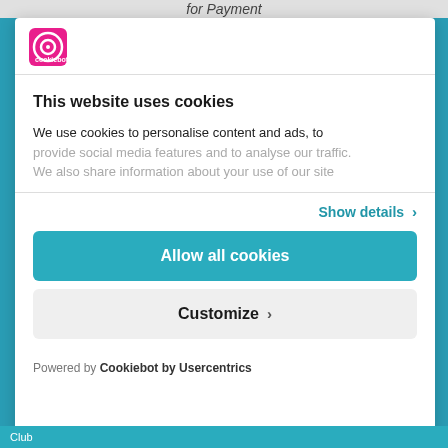for Payment
[Figure (logo): Cookiebot/Usercentrics logo icon - circular icon with pink/magenta background]
This website uses cookies
We use cookies to personalise content and ads, to provide social media features and to analyse our traffic. We also share information about your use of our site
Show details >
Allow all cookies
Customize >
Powered by Cookiebot by Usercentrics
Club